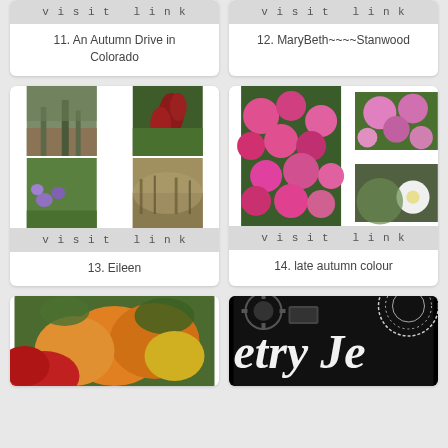[Figure (photo): Top-left card partial: visit link bar]
visit link
11. An Autumn Drive in Colorado
[Figure (photo): Top-right card partial: visit link bar]
visit link
12. MaryBeth~~~~Stanwood
[Figure (photo): Card 13: 4-photo collage of garden/nature scenes]
visit link
13. Eileen
[Figure (photo): Card 14: pink flower collage]
visit link
14. late autumn colour
[Figure (photo): Card 15 partial: orange and red flowers]
[Figure (photo): Card 16 partial: dark background with cursive text 'etry Tea']